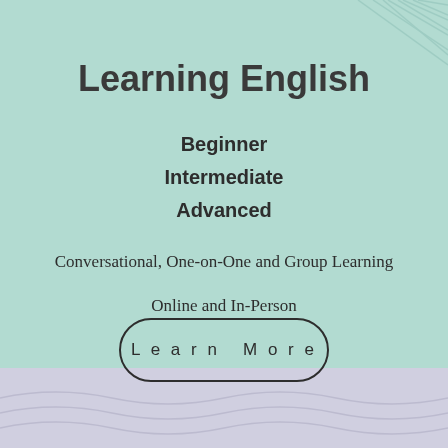Learning English
Beginner
Intermediate
Advanced
Conversational, One-on-One and Group Learning
Online and In-Person
Learn More